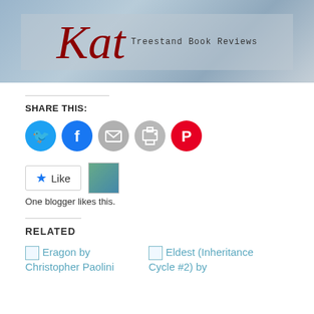[Figure (photo): Blog header image with cursive red script 'Kat' and subtitle 'Treestand Book Reviews' on a blue-grey photo background]
SHARE THIS:
[Figure (infographic): Row of circular social media share buttons: Twitter (blue bird), Facebook (blue f), Email (grey envelope), Print (grey printer), Pinterest (red P)]
[Figure (infographic): WordPress Like button with star icon and a blogger avatar thumbnail]
One blogger likes this.
RELATED
[Figure (photo): Thumbnail for Eragon by Christopher Paolini]
[Figure (photo): Thumbnail for Eldest (Inheritance Cycle #2) by]